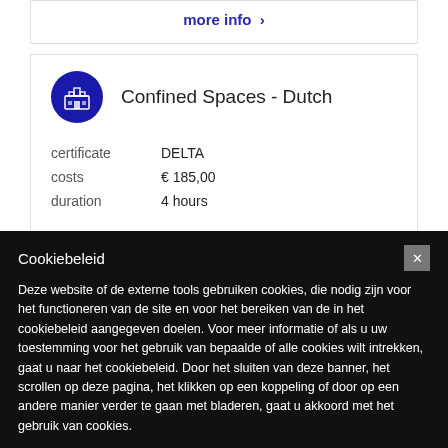more info >
Confined Spaces - Dutch
| certificate | DELTA |
| costs | € 185,00 |
| duration | 4 hours |
Cookiebeleid
Deze website of de externe tools gebruiken cookies, die nodig zijn voor het functioneren van de site en voor het bereiken van de in het cookiebeleid aangegeven doelen. Voor meer informatie of als u uw toestemming voor het gebruik van bepaalde of alle cookies wilt intrekken, gaat u naar het cookiebeleid. Door het sluiten van deze banner, het scrollen op deze pagina, het klikken op een koppeling of door op een andere manier verder te gaan met bladeren, gaat u akkoord met het gebruik van cookies.